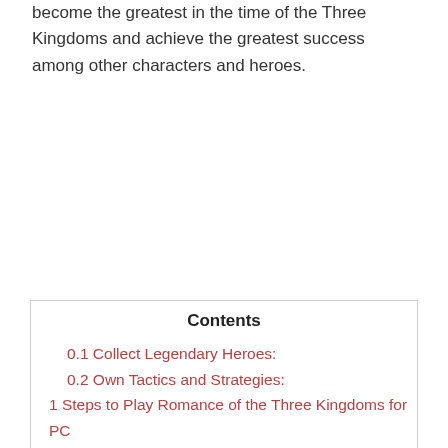become the greatest in the time of the Three Kingdoms and achieve the greatest success among other characters and heroes.
| Contents |
| --- |
| 0.1 Collect Legendary Heroes: |
| 0.2 Own Tactics and Strategies: |
| 1 Steps to Play Romance of the Three Kingdoms for PC |
0.1 Collect Legendary Heroes:
0.2 Own Tactics and Strategies:
1 Steps to Play Romance of the Three Kingdoms for PC